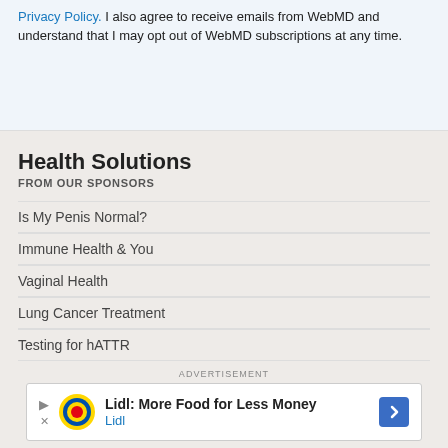Privacy Policy. I also agree to receive emails from WebMD and understand that I may opt out of WebMD subscriptions at any time.
Health Solutions
FROM OUR SPONSORS
Is My Penis Normal?
Immune Health & You
Vaginal Health
Lung Cancer Treatment
Testing for hATTR
ADVERTISEMENT
[Figure (other): Lidl advertisement banner: 'Lidl: More Food for Less Money' with Lidl logo and navigation arrow icon]